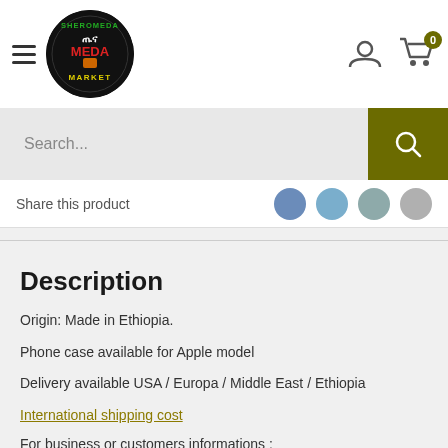[Figure (logo): Sheromeda Market circular logo — black circle with colorful text reading SHEROMEDA, ጤና MEDA, MARKET in green, red, yellow, white]
Search...
Share this product
Description
Origin: Made in Ethiopia.
Phone case available for Apple model
Delivery available USA / Europa / Middle East / Ethiopia
International shipping cost
For business or customers informations : contact@sheromeda.com